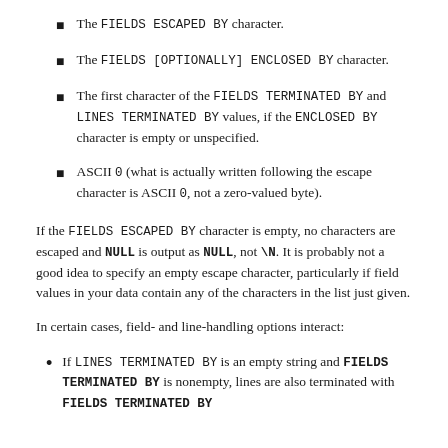The FIELDS ESCAPED BY character.
The FIELDS [OPTIONALLY] ENCLOSED BY character.
The first character of the FIELDS TERMINATED BY and LINES TERMINATED BY values, if the ENCLOSED BY character is empty or unspecified.
ASCII 0 (what is actually written following the escape character is ASCII 0, not a zero-valued byte).
If the FIELDS ESCAPED BY character is empty, no characters are escaped and NULL is output as NULL, not \N. It is probably not a good idea to specify an empty escape character, particularly if field values in your data contain any of the characters in the list just given.
In certain cases, field- and line-handling options interact:
If LINES TERMINATED BY is an empty string and FIELDS TERMINATED BY is nonempty, lines are also terminated with FIELDS TERMINATED BY.